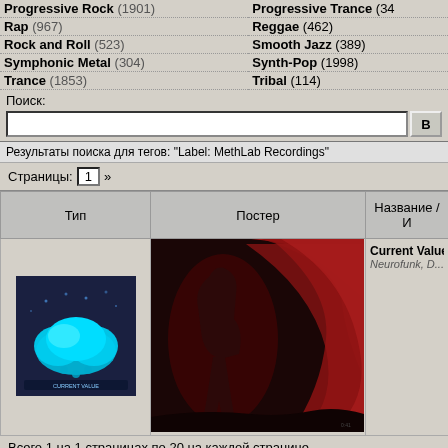Progressive Rock (1901)
Progressive Trance (34...)
Rap (967)
Reggae (462)
Rock and Roll (523)
Smooth Jazz (389)
Symphonic Metal (304)
Synth-Pop (1998)
Trance (1853)
Tribal (114)
Поиск:
Результаты поиска для тегов: "Label: MethLab Recordings"
Страницы: 1 »
| Тип | Постер | Название / И... |
| --- | --- | --- |
| [album icon] | [poster image] | Current Value -
Neurofunk, D... |
Всего 1 на 1 страницах по 20 на каждой странице.
Страницы: 1 »
>>>
Скачали сами, дай...
Vanessa Carlton - Be Not Nobody (Japanese Edition) (200... (Раздаю...
Chris Canas - Detroit (2022) [FLAC (tracks)] (Раздают: 0, Качают:...
Nobuo Uematsu - Final Fantasy VI Grand Finale (1994) [F... (Раздаю...